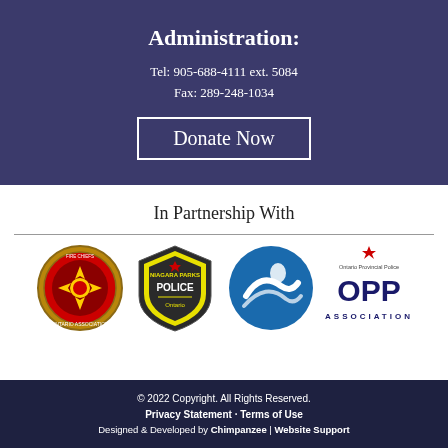Administration:
Tel: 905-688-4111 ext. 5084
Fax: 289-248-1034
Donate Now
In Partnership With
[Figure (logo): Four partner organization logos: Ontario Fire Chiefs Association, Niagara Parks Police, an aquatic/wave organization logo (blue circle), and OPP Association (Ontario Provincial Police)]
© 2022 Copyright. All Rights Reserved.
Privacy Statement · Terms of Use
Designed & Developed by Chimpanzee | Website Support